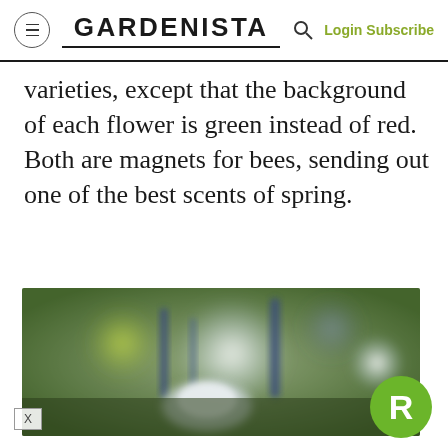GARDENISTA | Login Subscribe
varieties, except that the background of each flower is green instead of red. Both are magnets for bees, sending out one of the best scents of spring.
[Figure (photo): Close-up blurred garden photo showing soft-focus blue and white flowers with green bokeh background]